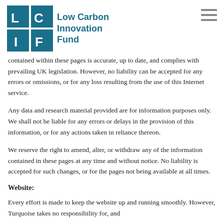[Figure (logo): Low Carbon Innovation Fund logo with LCIF letter blocks in teal/blue grid and text]
contained within these pages is accurate, up to date, and complies with prevailing UK legislation. However, no liability can be accepted for any errors or omissions, or for any loss resulting from the use of this Internet service.
Any data and research material provided are for information purposes only. We shall not be liable for any errors or delays in the provision of this information, or for any actions taken in reliance thereon.
We reserve the right to amend, alter, or withdraw any of the information contained in these pages at any time and without notice. No liability is accepted for such changes, or for the pages not being available at all times.
Website:
Every effort is made to keep the website up and running smoothly. However, Turquoise takes no responsibility for, and